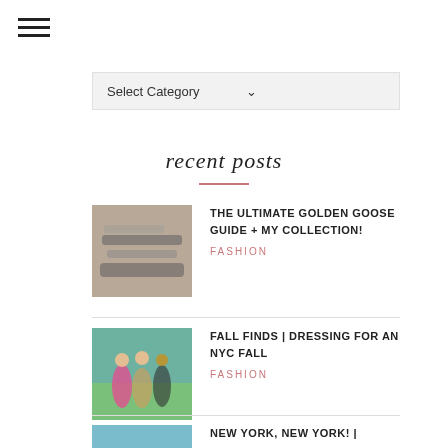[Figure (other): Hamburger menu icon with three horizontal lines]
[Figure (other): Select Category dropdown bar with chevron]
recent posts
[Figure (photo): Photo of Golden Goose sneakers]
THE ULTIMATE GOLDEN GOOSE GUIDE + MY COLLECTION!
FASHION
[Figure (photo): Photo of people outdoors]
FALL FINDS | DRESSING FOR AN NYC FALL
FASHION
[Figure (photo): Photo for New York post]
NEW YORK, NEW YORK! |